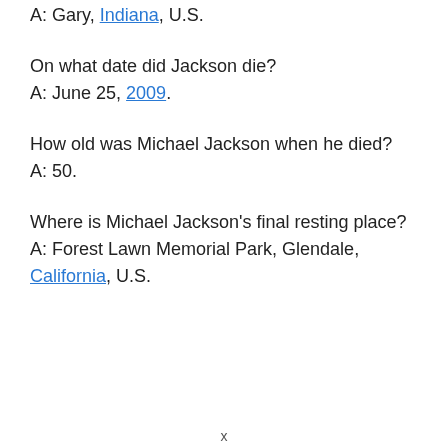A: Gary, Indiana, U.S.
On what date did Jackson die?
A: June 25, 2009.
How old was Michael Jackson when he died?
A: 50.
Where is Michael Jackson's final resting place?
A: Forest Lawn Memorial Park, Glendale, California, U.S.
x